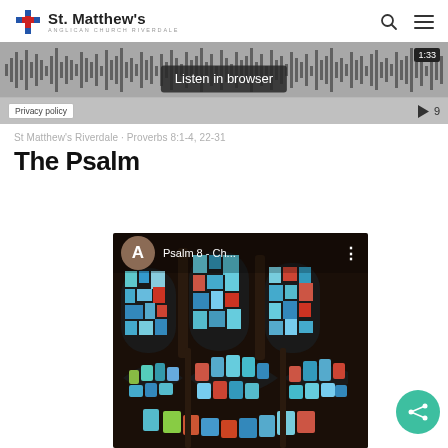St. Matthew's — Anglican Church Riverdale
[Figure (screenshot): Audio player widget with waveform visualization, 'Listen in browser' button, timestamp 1:33, privacy policy link, and play button]
St Matthew's Riverdale · Proverbs 8:1-4, 22-31
The Psalm
[Figure (screenshot): Android music player overlaid on stained glass window photo showing colorful cathedral glass panels. Player shows avatar 'A', title 'Psalm 8 - Ch...' and three-dot menu.]